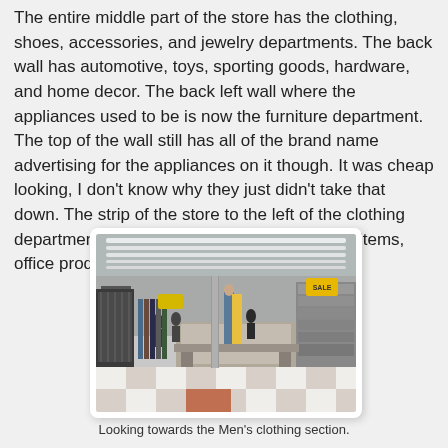The entire middle part of the store has the clothing, shoes, accessories, and jewelry departments. The back wall has automotive, toys, sporting goods, hardware, and home decor. The back left wall where the appliances used to be is now the furniture department. The top of the wall still has all of the brand name advertising for the appliances on it though. It was cheap looking, I don't know why they just didn't take that down. The strip of the store to the left of the clothing department in the middle features the kitchen items, office products, and a few other things.
[Figure (photo): Interior photograph of a large retail store (resembling Kmart or similar discount store) showing the men's clothing section. Fluorescent ceiling lights, clothing racks on both sides, display tables in the center, and shoppers visible in the background. Checkered floor tiles (white and orange/terracotta) in the foreground.]
Looking towards the Men's clothing section.